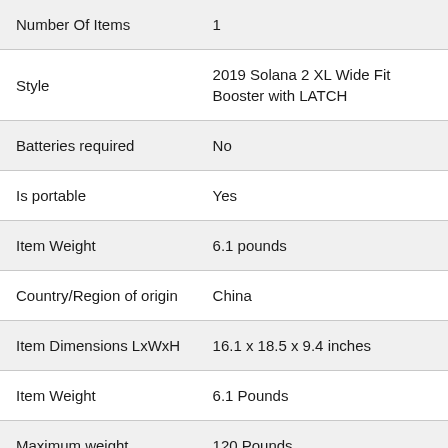| Attribute | Value |
| --- | --- |
| Number Of Items | 1 |
| Style | 2019 Solana 2 XL Wide Fit Booster with LATCH |
| Batteries required | No |
| Is portable | Yes |
| Item Weight | 6.1 pounds |
| Country/Region of origin | China |
| Item Dimensions LxWxH | 16.1 x 18.5 x 9.4 inches |
| Item Weight | 6.1 Pounds |
| Maximum weight | 120 Pounds |